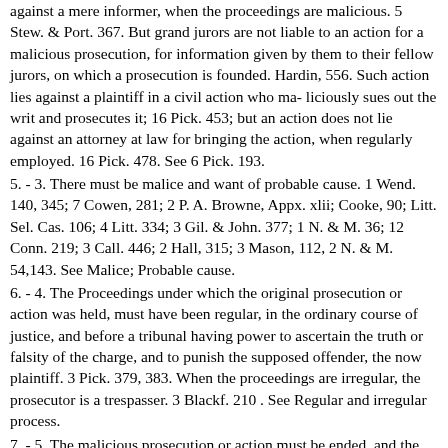against a mere informer, when the proceedings are malicious. 5 Stew. & Port. 367. But grand jurors are not liable to an action for a malicious prosecution, for information given by them to their fellow jurors, on which a prosecution is founded. Hardin, 556. Such action lies against a plaintiff in a civil action who ma- liciously sues out the writ and prosecutes it; 16 Pick. 453; but an action does not lie against an attorney at law for bringing the action, when regularly employed. 16 Pick. 478. See 6 Pick. 193.
5. - 3. There must be malice and want of probable cause. 1 Wend. 140, 345; 7 Cowen, 281; 2 P. A. Browne, Appx. xlii; Cooke, 90; Litt. Sel. Cas. 106; 4 Litt. 334; 3 Gil. & John. 377; 1 N. & M. 36; 12 Conn. 219; 3 Call. 446; 2 Hall, 315; 3 Mason, 112, 2 N. & M. 54,143. See Malice; Probable cause.
6. - 4. The Proceedings under which the original prosecution or action was held, must have been regular, in the ordinary course of justice, and before a tribunal having power to ascertain the truth or falsity of the charge, and to punish the supposed offender, the now plaintiff. 3 Pick. 379, 383. When the proceedings are irregular, the prosecutor is a trespasser. 3 Blackf. 210 . See Regular and irregular process.
7. - 5. The malicious prosecution or action must be ended, and the plain-tiff must show it was groundless, either by his